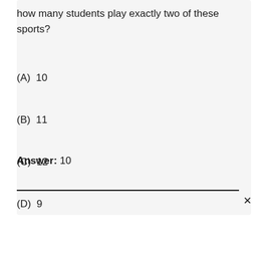how many students play exactly two of these sports?
(A) 10
(B) 11
(C) 12
(D) 9
Answer: 10